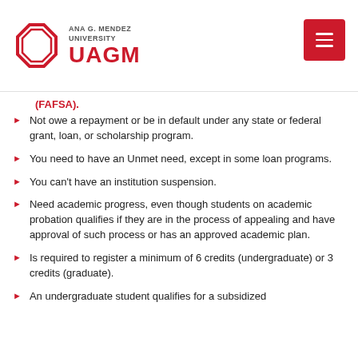ANA G. MENDEZ UNIVERSITY UAGM
(FAFSA).
Not owe a repayment or be in default under any state or federal grant, loan, or scholarship program.
You need to have an Unmet need, except in some loan programs.
You can't have an institution suspension.
Need academic progress, even though students on academic probation qualifies if they are in the process of appealing and have approval of such process or has an approved academic plan.
Is required to register a minimum of 6 credits (undergraduate) or 3 credits (graduate).
An undergraduate student qualifies for a subsidized ...